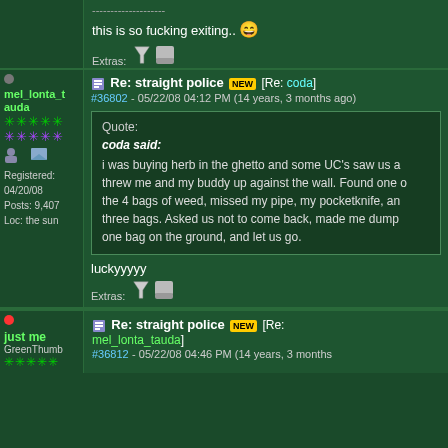this is so fucking exiting..
Re: straight police [NEW] [Re: coda]
#36802 - 05/22/08 04:12 PM (14 years, 3 months ago)
Quote:
coda said:
i was buying herb in the ghetto and some UC's saw us and threw me and my buddy up against the wall. Found one of the 4 bags of weed, missed my pipe, my pocketknife, and three bags. Asked us not to come back, made me dump one bag on the ground, and let us go.
luckyyyyy
Re: straight police [NEW] [Re: mel_lonta_tauda]
#36812 - 05/22/08 04:46 PM (14 years, 3 months